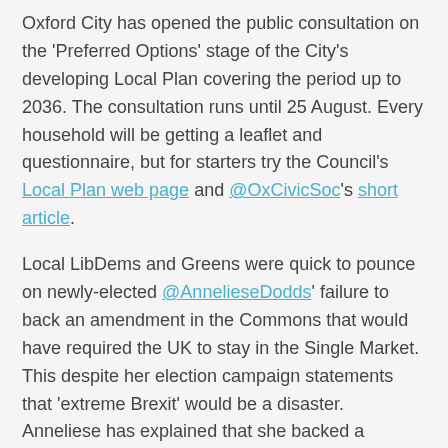Oxford City has opened the public consultation on the 'Preferred Options' stage of the City's developing Local Plan covering the period up to 2036. The consultation runs until 25 August. Every household will be getting a leaflet and questionnaire, but for starters try the Council's Local Plan web page and @OxCivicSoc's short article.
Local LibDems and Greens were quick to pounce on newly-elected @AnnelieseDodds' failure to back an amendment in the Commons that would have required the UK to stay in the Single Market. This despite her election campaign statements that 'extreme Brexit' would be a disaster. Anneliese has explained that she backed a different amendment which she believed was stronger. A full account of this story here.
My favourite Headington-related tweet:
[Figure (other): Embedded image box with caption text: Gallery of pictures in the Oxford Mail of]